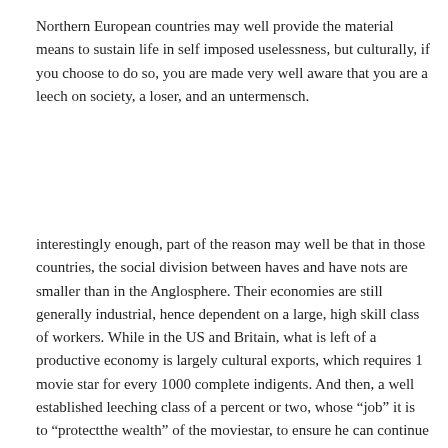Northern European countries may well provide the material means to sustain life in self imposed uselessness, but culturally, if you choose to do so, you are made very well aware that you are a leech on society, a loser, and an untermensch.
interestingly enough, part of the reason may well be that in those countries, the social division between haves and have nots are smaller than in the Anglosphere. Their economies are still generally industrial, hence dependent on a large, high skill class of workers. While in the US and Britain, what is left of a productive economy is largely cultural exports, which requires 1 movie star for every 1000 complete indigents. And then, a well established leeching class of a percent or two, whose “job” it is to “protectthe wealth” of the moviestar, to ensure he can continue to purchase high quality goods made in Northern Europe.
So, in Europe, those down on their luck, are still in close proximity to those less so, so the gap doesn’t seem quite as much like two different